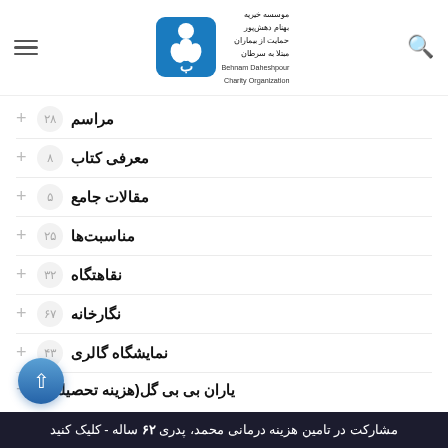[Figure (logo): Behnam Daheshpour Charity Organization logo — blue square with stylized figure and Persian/English text]
مراسم ۲۸
معرفی کتاب ۸
مقالات جامع ۵
مناسبت‌ها ۲۵
نقاهتگاه ۳۲
نگارخانه ۶۷
نمایشگاه گالری ۴۳
یاران بی بی گل(هزینه تحصیلی) ۲
مشارکت در تامین هزینه درمانی محمد، پدری ۶۲ ساله - کلیک کنید